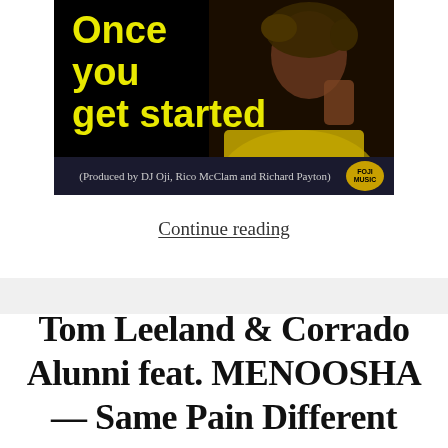[Figure (photo): Album cover art for 'Once you get started' — black background, woman in yellow jacket posing, yellow bold text reading 'Once you get started', bottom bar with text '(Produced by DJ Oji, Rico McClam and Richard Payton)' and FOJI MUSIC logo badge]
Continue reading
Tom Leeland & Corrado Alunni feat. MENOOSHA — Same Pain Different Game